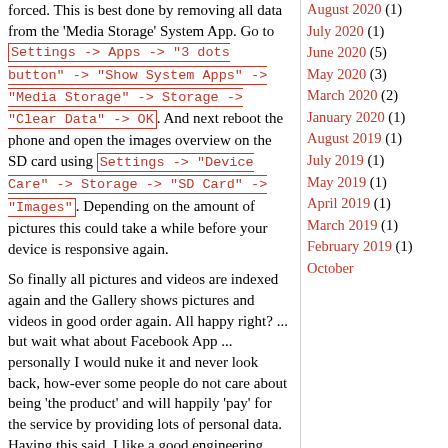forced. This is best done by removing all data from the 'Media Storage' System App. Go to Settings -> Apps -> "3 dots button" -> "Show System Apps" -> "Media Storage" -> Storage -> "Clear Data" -> OK. And next reboot the phone and open the images overview on the SD card using Settings -> "Device Care" -> Storage -> "SD Card" -> "Images". Depending on the amount of pictures this could take a while before your device is responsive again.
So finally all pictures and videos are indexed again and the Gallery shows pictures and videos in good order again. All happy right? ... but wait what about Facebook App ... personally I would nuke it and never look back, how-ever some people do not care about being 'the product' and will happily 'pay' for the service by providing lots of personal data. Having this said, I like a good engineering puzzle, so let's get started.
Facebook App for those who > >) are still
August 2020 (1)
July 2020 (1)
June 2020 (5)
May 2020 (3)
March 2020 (2)
January 2020 (1)
August 2019 (1)
July 2019 (1)
May 2019 (1)
April 2019 (1)
March 2019 (1)
February 2019 (1)
October